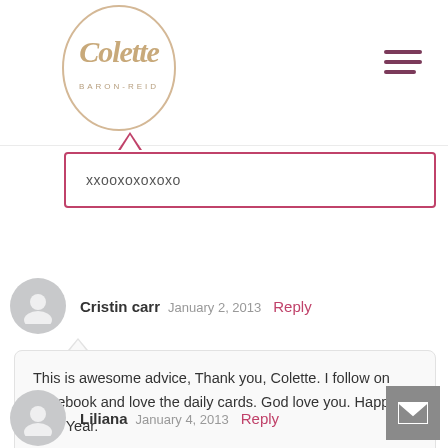[Figure (logo): Colette Baron-Reid logo in a circular frame with golden/tan handwritten script]
xxooxoxoxoxo
Cristin carr   January 2, 2013   Reply
This is awesome advice, Thank you, Colette. I follow on Facebook and love the daily cards. God love you. Happy New Year.
Liliana   January 4, 2013   Reply
Thank you! As I read the list, I couldn't help notice the